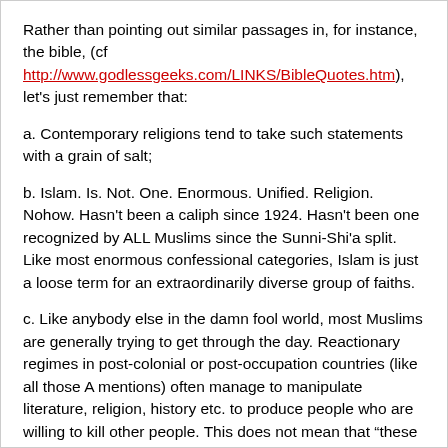Rather than pointing out similar passages in, for instance, the bible, (cf http://www.godlessgeeks.com/LINKS/BibleQuotes.htm), let's just remember that:
a. Contemporary religions tend to take such statements with a grain of salt;
b. Islam. Is. Not. One. Enormous. Unified. Religion. Nohow. Hasn't been a caliph since 1924. Hasn't been one recognized by ALL Muslims since the Sunni-Shi'a split. Like most enormous confessional categories, Islam is just a loose term for an extraordinarily diverse group of faiths.
c. Like anybody else in the damn fool world, most Muslims are generally trying to get through the day. Reactionary regimes in post-colonial or post-occupation countries (like all those A mentions) often manage to manipulate literature, religion, history etc. to produce people who are willing to kill other people. This does not mean that “these Muslims,” are in any way representative of the majority (who live in Indonesia and India, BTW).